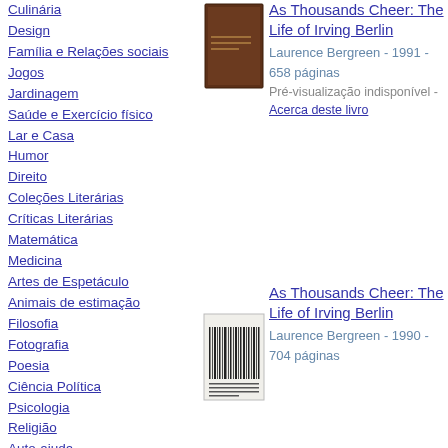Culinária
Design
Família e Relações sociais
Jogos
Jardinagem
Saúde e Exercício físico
Lar e Casa
Humor
Direito
Coleções Literárias
Críticas Literárias
Matemática
Medicina
Artes de Espetáculo
Animais de estimação
Filosofia
Fotografia
Poesia
Ciência Política
Psicologia
Religião
Auto-ajuda
[Figure (photo): Brown hardcover book - As Thousands Cheer: The Life of Irving Berlin]
As Thousands Cheer: The Life of Irving Berlin
Laurence Bergreen - 1991 - 658 páginas
Pré-visualização indisponível - Acerca deste livro
[Figure (photo): Barcode/text image of book As Thousands Cheer: The Life of Irving Berlin]
As Thousands Cheer: The Life of Irving Berlin
Laurence Bergreen - 1990 - 704 páginas